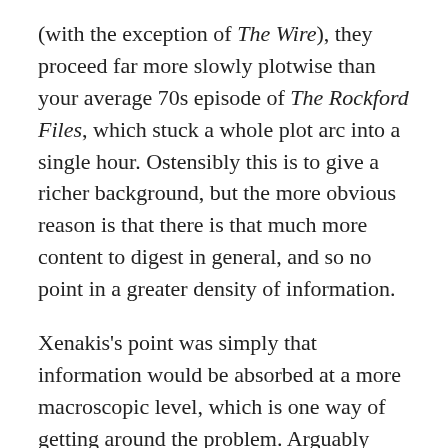(with the exception of The Wire), they proceed far more slowly plotwise than your average 70s episode of The Rockford Files, which stuck a whole plot arc into a single hour. Ostensibly this is to give a richer background, but the more obvious reason is that there is that much more content to digest in general, and so no point in a greater density of information.
Xenakis's point was simply that information would be absorbed at a more macroscopic level, which is one way of getting around the problem. Arguably Ferneyhough embraced this as well, though you can make the argument in the other direction to attack Babbitt: how many works with an information density on the order of Webern can a composer make that are going to be masterpieces? Webern only managed a few hours of music total. Babbitt has written far more, and if they're